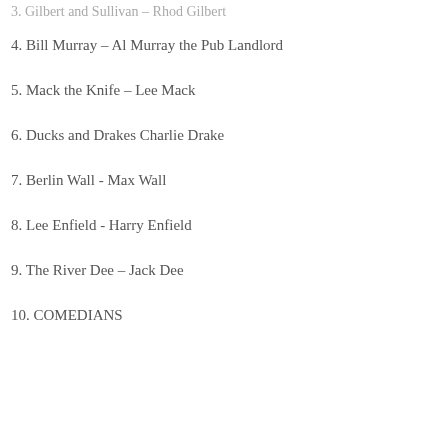3. Gilbert and Sullivan – Rhod Gilbert
4. Bill Murray – Al Murray the Pub Landlord
5. Mack the Knife – Lee Mack
6. Ducks and Drakes Charlie Drake
7. Berlin Wall - Max Wall
8. Lee Enfield - Harry Enfield
9. The River Dee – Jack Dee
10. COMEDIANS